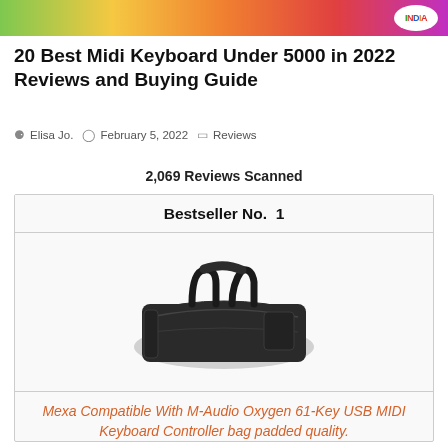INDIA (logo/badge)
20 Best Midi Keyboard Under 5000 in 2022 Reviews and Buying Guide
Elisa Jo.  February 5, 2022  Reviews
2,069 Reviews Scanned
Bestseller No. 1
[Figure (photo): Black padded keyboard bag with handle and zipper closure]
Mexa Compatible With M-Audio Oxygen 61-Key USB MIDI Keyboard Controller bag padded quality.